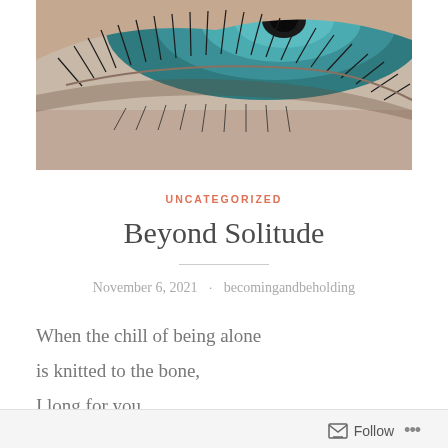[Figure (photo): Close-up macro photo of a human eye with visible eyelashes and teal/green iris, black and white tones for lashes area]
UNCATEGORIZED
Beyond Solitude
November 6, 2021 · becomingandbeholding
When the chill of being alone
is knitted to the bone,
I long for you,
Follow